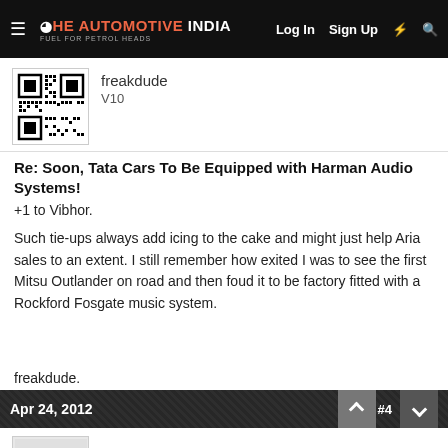THE AUTOMOTIVE INDIA | Log In  Sign Up
freakdude
V10
Re: Soon, Tata Cars To Be Equipped with Harman Audio Systems!
+1 to Vibhor.
Such tie-ups always add icing to the cake and might just help Aria sales to an extent. I still remember how exited I was to see the first Mitsu Outlander on road and then foud it to be factory fitted with a Rockford Fosgate music system.
freakdude.
Apr 24, 2012  #4
TSIVipul
V12